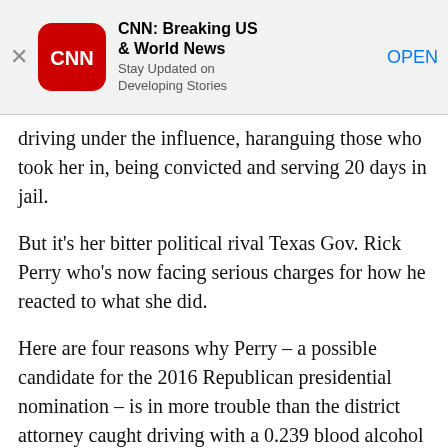[Figure (screenshot): CNN app advertisement banner with CNN logo, title 'CNN: Breaking US & World News', subtitle 'Stay Updated on Developing Stories', and an OPEN button]
driving under the influence, haranguing those who took her in, being convicted and serving 20 days in jail.
But it's her bitter political rival Texas Gov. Rick Perry who's now facing serious charges for how he reacted to what she did.
Here are four reasons why Perry – a possible candidate for the 2016 Republican presidential nomination – is in more trouble than the district attorney caught driving with a 0.239 blood alcohol level, nearly three times the state's legal limit.
Walking the line